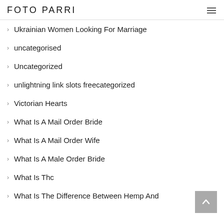FOTO PARRI
Ukrainian Women Looking For Marriage
uncategorised
Uncategorized
unlightning link slots freecategorized
Victorian Hearts
What Is A Mail Order Bride
What Is A Mail Order Wife
What Is A Male Order Bride
What Is Thc
What Is The Difference Between Hemp And